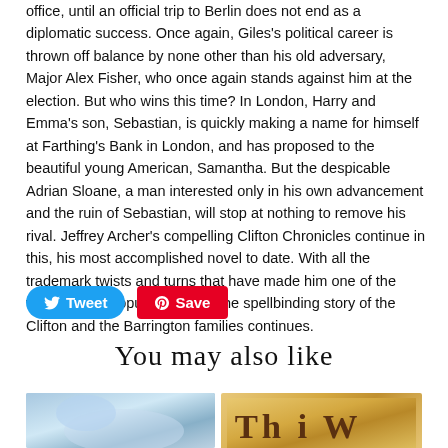office, until an official trip to Berlin does not end as a diplomatic success. Once again, Giles's political career is thrown off balance by none other than his old adversary, Major Alex Fisher, who once again stands against him at the election. But who wins this time? In London, Harry and Emma's son, Sebastian, is quickly making a name for himself at Farthing's Bank in London, and has proposed to the beautiful young American, Samantha. But the despicable Adrian Sloane, a man interested only in his own advancement and the ruin of Sebastian, will stop at nothing to remove his rival. Jeffrey Archer's compelling Clifton Chronicles continue in this, his most accomplished novel to date. With all the trademark twists and turns that have made him one of the world's most popular authors, the spellbinding story of the Clifton and the Barrington families continues.
[Figure (other): Tweet button (Twitter/X social share button, blue rounded pill) and Save button (Pinterest red save button)]
You may also like
[Figure (photo): Two book cover images partially visible at the bottom of the page]